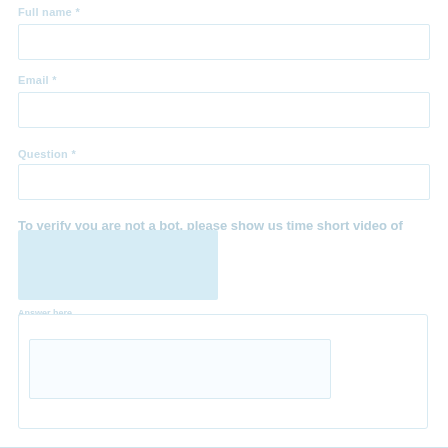Full name *
Email *
Question *
To verify you are not a bot, please show us time short video of three (three) seconds*
[Figure (screenshot): Video upload placeholder box with blue background]
Answer here